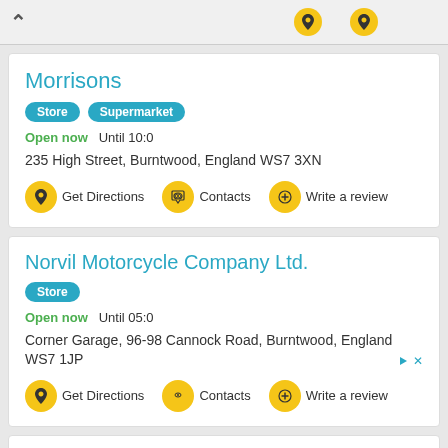[Figure (screenshot): Top navigation bar with back chevron and two yellow circular map pin icons]
Morrisons
Store   Supermarket
Open now   Until 10:0
235 High Street, Burntwood, England WS7 3XN
Get Directions   Contacts   Write a review
Norvil Motorcycle Company Ltd.
Store
Open now   Until 05:0
Corner Garage, 96-98 Cannock Road, Burntwood, England WS7 1JP
Get Directions   Contacts   Write a review
partial card visible at bottom